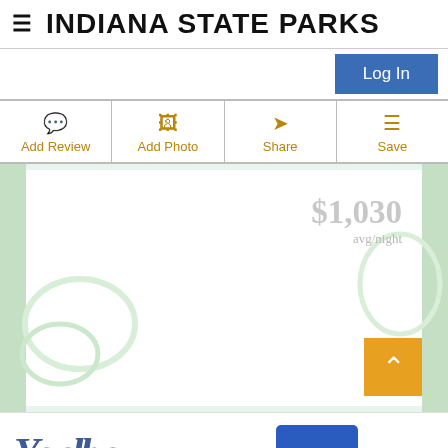INDIANA STATE PARKS
Log In
Add Review
Add Photo
Share
Save
$1,030 avg/night
[Figure (screenshot): Decorative background with light green swirl pattern and white content area]